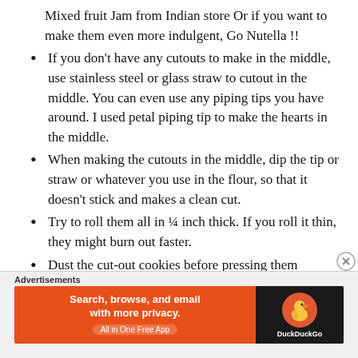Mixed fruit Jam from Indian store Or if you want to make them even more indulgent, Go Nutella !!
If you don't have any cutouts to make in the middle, use stainless steel or glass straw to cutout in the middle. You can even use any piping tips you have around. I used petal piping tip to make the hearts in the middle.
When making the cutouts in the middle, dip the tip or straw or whatever you use in the flour, so that it doesn't stick and makes a clean cut.
Try to roll them all in ¼ inch thick. If you roll it thin, they might burn out faster.
Dust the cut-out cookies before pressing them
Advertisements
[Figure (other): DuckDuckGo advertisement banner: orange background with text 'Search, browse, and email with more privacy. All in One Free App' and DuckDuckGo duck logo on dark right panel]